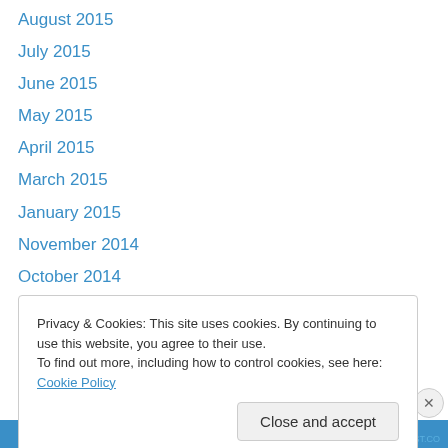August 2015
July 2015
June 2015
May 2015
April 2015
March 2015
January 2015
November 2014
October 2014
September 2014
July 2014
June 2014
May 2014
Privacy & Cookies: This site uses cookies. By continuing to use this website, you agree to their use.
To find out more, including how to control cookies, see here: Cookie Policy